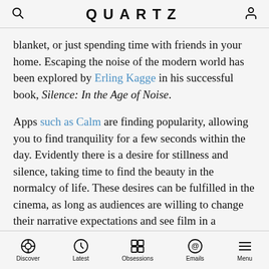QUARTZ
blanket, or just spending time with friends in your home. Escaping the noise of the modern world has been explored by Erling Kagge in his successful book, Silence: In the Age of Noise.
Apps such as Calm are finding popularity, allowing you to find tranquility for a few seconds within the day. Evidently there is a desire for stillness and silence, taking time to find the beauty in the normalcy of life. These desires can be fulfilled in the cinema, as long as audiences are willing to change their narrative expectations and see film in a different way.
Ben Rivers, a UK-based documentary and fiction filmmaker, and Anocha Suwichakornpong, a Thai
Discover  Latest  Obsessions  Emails  Menu